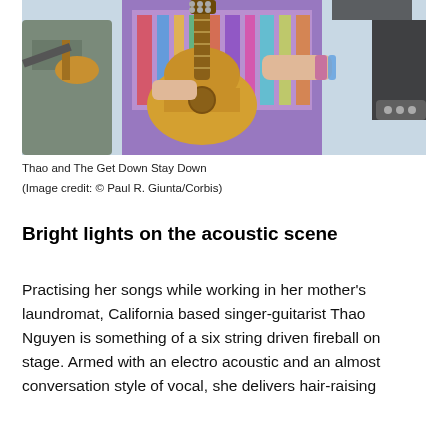[Figure (photo): Photo of musicians performing, including a guitarist in a colorful patterned dress playing an acoustic guitar, with another musician holding a violin on the left side. Taken outdoors against a light blue sky.]
Thao and The Get Down Stay Down
(Image credit: © Paul R. Giunta/Corbis)
Bright lights on the acoustic scene
Practising her songs while working in her mother's laundromat, California based singer-guitarist Thao Nguyen is something of a six string driven fireball on stage. Armed with an electro acoustic and an almost conversation style of vocal, she delivers hair-raising